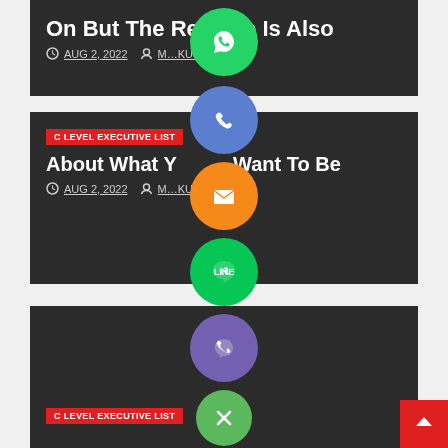On But The Reverse Is Also
AUG 2, 2022  M…KUL
[Figure (illustration): Social sharing buttons column: WhatsApp (green), Phone (blue/purple), Email (orange), LINE (green), Viber (purple), Close/X (green) overlaid on the page center]
C LEVEL EXECUTIVE LIST
About What You Want To Be
AUG 2, 2022  M…KUL
C LEVEL EXECUTIVE LIST